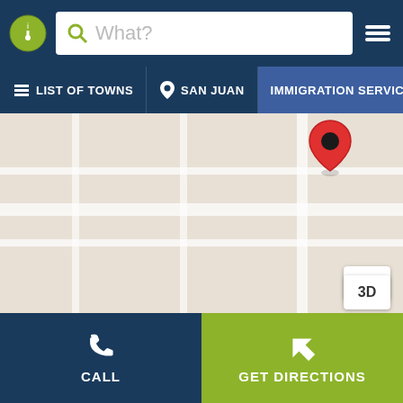[Figure (screenshot): Mobile app top navigation bar with info icon, search box labeled 'What?', and hamburger menu on dark navy background]
LIST OF TOWNS
SAN JUAN
IMMIGRATION SERVICES
[Figure (map): Map view showing a beige/tan colored street map with a red location pin marker in the upper right area of the map]
3D
CALL
GET DIRECTIONS